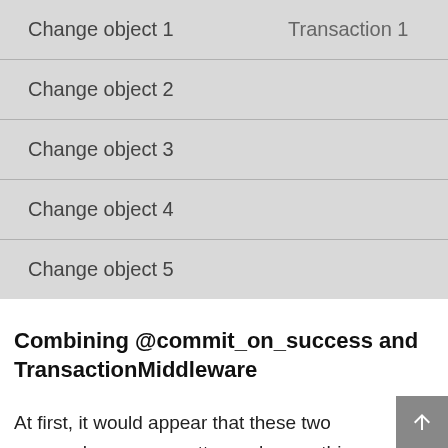[Figure (other): A table/diagram with grey background showing rows: 'Change object 1' with 'Transaction 1' on the right, then 'Change object 2', 'Change object 3', 'Change object 4', 'Change object 5' each in their own row separated by horizontal lines.]
Combining @commit_on_success and TransactionMiddleware
At first, it would appear that these two approaches cover pretty much everything you'd want. But there are problems when you combine the two. If we use the @commit_on_success decorator as before and TransactionMiddleware, we get the following set of transactions: